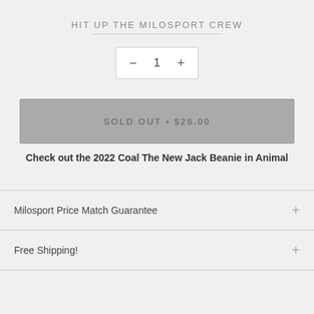HIT UP THE MILOSPORT CREW
[Figure (other): Quantity selector with minus button, number 1, and plus button inside a bordered box]
[Figure (other): Sold out button showing SOLD OUT • $26.00 in grey]
Check out the 2022 Coal The New Jack Beanie in Animal
Milosport Price Match Guarantee
Free Shipping!